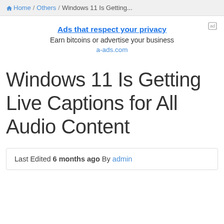Home / Others / Windows 11 Is Getting...
[Figure (other): Advertisement banner: 'Ads that respect your privacy' with subtitle 'Earn bitcoins or advertise your business' and link 'a-ads.com']
Windows 11 Is Getting Live Captions for All Audio Content
Last Edited 6 months ago By admin